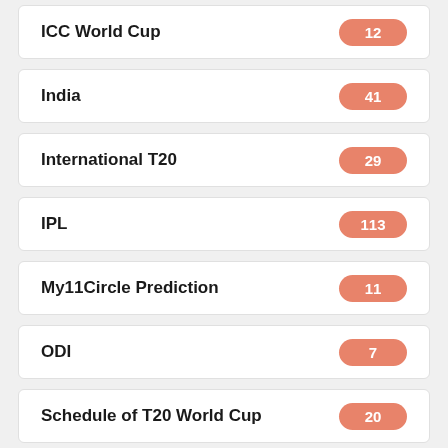ICC World Cup — 12
India — 41
International T20 — 29
IPL — 113
My11Circle Prediction — 11
ODI — 7
Schedule of T20 World Cup — 20